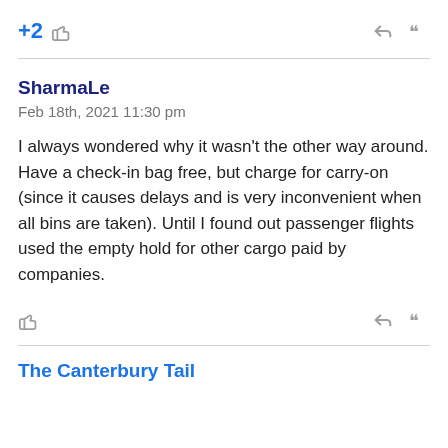+2 [thumbs up icon] [reply icon] [quote icon]
SharmaLe
Feb 18th, 2021 11:30 pm
I always wondered why it wasn't the other way around. Have a check-in bag free, but charge for carry-on (since it causes delays and is very inconvenient when all bins are taken). Until I found out passenger flights used the empty hold for other cargo paid by companies.
[thumbs up icon] [reply icon] [quote icon]
The Canterbury Tail